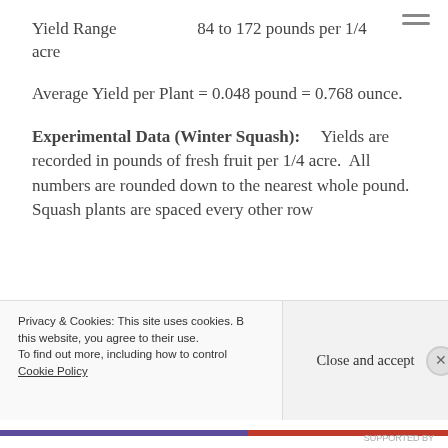Yield Range    84 to 172 pounds per 1/4 acre
Average Yield per Plant = 0.048 pound = 0.768 ounce.
Experimental Data (Winter Squash):    Yields are recorded in pounds of fresh fruit per 1/4 acre.  All numbers are rounded down to the nearest whole pound.  Squash plants are spaced every other row
Privacy & Cookies: This site uses cookies. By continuing to use this website, you agree to their use. To find out more, including how to control cookies, see here: Cookie Policy
Close and accept